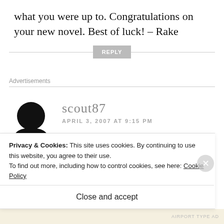what you were up to. Congratulations on your new novel. Best of luck! — Rake
REPLY
Advertisements
[Figure (illustration): Black circular avatar/silhouette icon for user scout87]
scout87
APRIL 3, 2007 AT 9:15 PM
Privacy & Cookies: This site uses cookies. By continuing to use this website, you agree to their use.
To find out more, including how to control cookies, see here: Cookie Policy
Close and accept